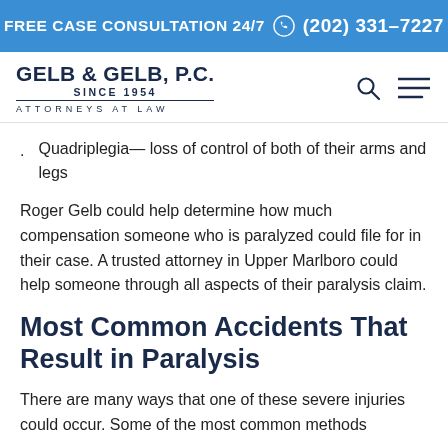FREE CASE CONSULTATION 24/7 (202) 331-7227
GELB & GELB, P.C. SINCE 1954 ATTORNEYS AT LAW
Quadriplegia— loss of control of both of their arms and legs
Roger Gelb could help determine how much compensation someone who is paralyzed could file for in their case. A trusted attorney in Upper Marlboro could help someone through all aspects of their paralysis claim.
Most Common Accidents That Result in Paralysis
There are many ways that one of these severe injuries could occur. Some of the most common methods